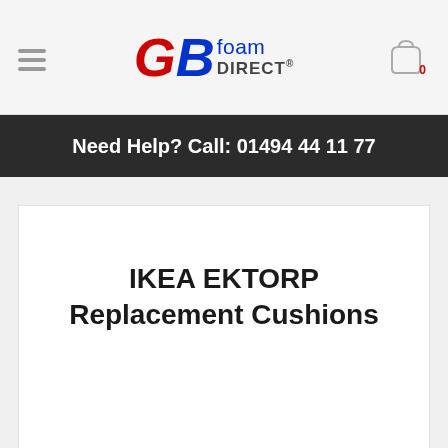GBfoam DIRECT
Need Help? Call: 01494 44 11 77
IKEA EKTORP Replacement Cushions